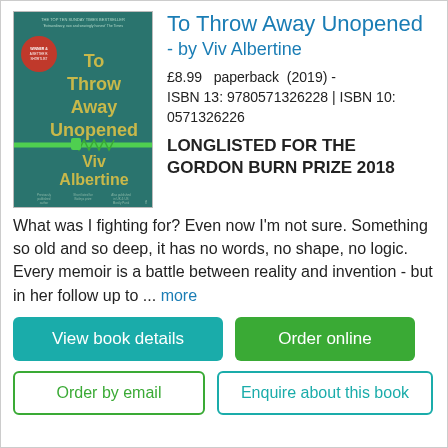[Figure (illustration): Book cover of 'To Throw Away Unopened' by Viv Albertine. Dark teal/green background with large yellow-green text reading 'To Throw Away Unopened' and 'Viv Albertine'. A green zipper graphic runs across the middle. Small red circular badge in top-left. Text at top and bottom in small print.]
To Throw Away Unopened - by Viv Albertine
£8.99   paperback   (2019) - ISBN 13: 9780571326228 | ISBN 10: 0571326226
LONGLISTED FOR THE GORDON BURN PRIZE 2018
What was I fighting for? Even now I'm not sure. Something so old and so deep, it has no words, no shape, no logic.   Every memoir is a battle between reality and invention - but in her follow up to ... more